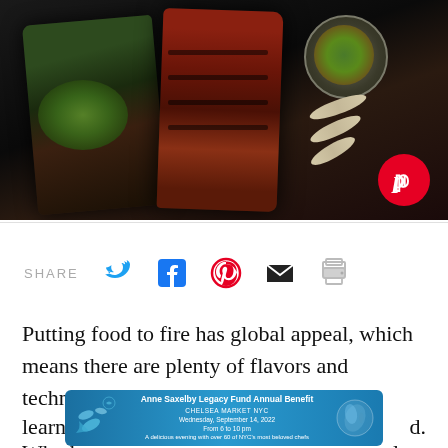[Figure (photo): Overhead dark-background photo of grilled/charred meat pieces: herb-topped piece on left, charred red ribs in center, bowl of garnish and curved bones on right. Pinterest button overlay bottom-right.]
SHARE
Putting food to fire has global appeal, which means there are plenty of flavors and techniques to be learned. Whether ... ulent
[Figure (infographic): Advertisement banner: Anne Saxelby Legacy Fund Annual Benefit, Chelsea Market NYC, Wednesday September 14, 2022, From 6 to 10 pm, A delicious evening with over 60 of NYC's most beloved chefs]